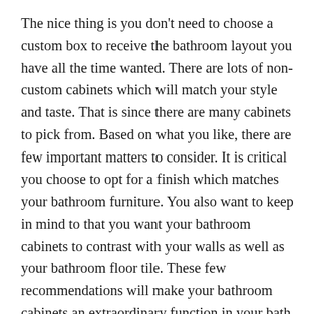The nice thing is you don't need to choose a custom box to receive the bathroom layout you have all the time wanted. There are lots of non-custom cabinets which will match your style and taste. That is since there are many cabinets to pick from. Based on what you like, there are few important matters to consider. It is critical you choose to opt for a finish which matches your bathroom furniture. You also want to keep in mind to that you want your bathroom cabinets to contrast with your walls as well as your bathroom floor tile. These few recommendations will make your bathroom cabinets an extraordinary function in your bath room. A bathroom cabinet specialist will be pleased to assist you in any of your customization requires.